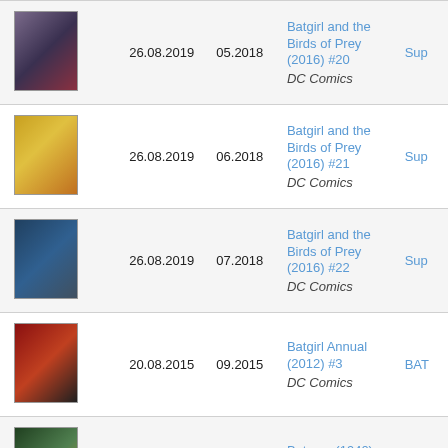| Cover |  | Date Added | Pub. Date | Title / Publisher | Series |
| --- | --- | --- | --- | --- | --- |
| [cover] |  | 26.08.2019 | 05.2018 | Batgirl and the Birds of Prey (2016) #20
DC Comics | Sup |
| [cover] |  | 26.08.2019 | 06.2018 | Batgirl and the Birds of Prey (2016) #21
DC Comics | Sup |
| [cover] |  | 26.08.2019 | 07.2018 | Batgirl and the Birds of Prey (2016) #22
DC Comics | Sup |
| [cover] |  | 20.08.2015 | 09.2015 | Batgirl Annual (2012) #3
DC Comics | BAT |
| [cover] | [globe] | 04.05.2014 | 05.1994 | Batman (1940) #507
DC Comics | DC |